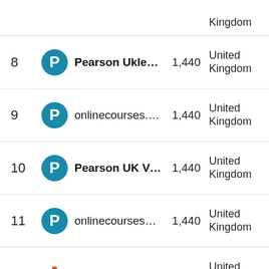| Rank | Logo | Name | Count | Country |
| --- | --- | --- | --- | --- |
| (partial) |  |  |  | Kingdom |
| 8 | Pearson | Pearson Uklearns | 1,440 | United Kingdom |
| 9 | Pearson | onlinecourses.pea… | 1,440 | United Kingdom |
| 10 | Pearson | Pearson UK Virtual… | 1,440 | United Kingdom |
| 11 | Pearson | onlinecoursesbsg… | 1,440 | United Kingdom |
| 12 | Royal Mail | Royal Mail Group | 2,167 | United Kingdom |
| (partial) |  |  |  | United |